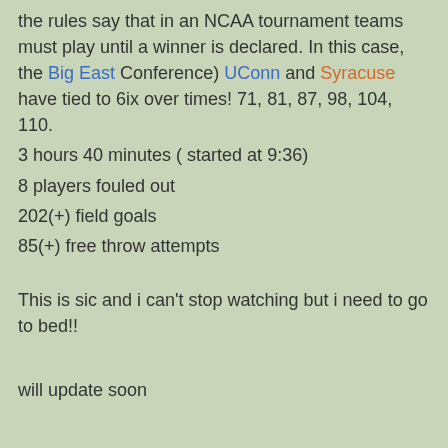the rules say that in an NCAA tournament teams must play until a winner is declared. In this case, the Big East Conference) UConn and Syracuse have tied to 6ix over times! 71, 81, 87, 98, 104, 110.
3 hours 40 minutes ( started at 9:36)
8 players fouled out
202(+) field goals
85(+) free throw attempts
This is sic and i can't stop watching but i need to go to bed!!
will update soon